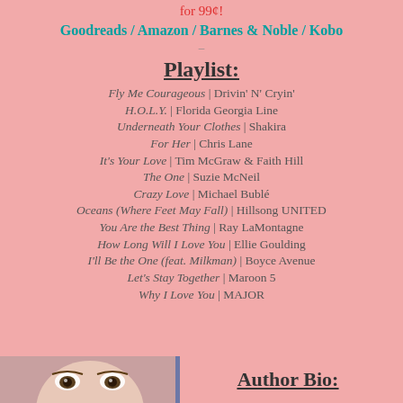for 99¢!
Goodreads / Amazon / Barnes & Noble / Kobo
Playlist:
Fly Me Courageous | Drivin' N' Cryin'
H.O.L.Y. | Florida Georgia Line
Underneath Your Clothes | Shakira
For Her | Chris Lane
It's Your Love | Tim McGraw & Faith Hill
The One | Suzie McNeil
Crazy Love | Michael Bublé
Oceans (Where Feet May Fall) | Hillsong UNITED
You Are the Best Thing | Ray LaMontagne
How Long Will I Love You | Ellie Goulding
I'll Be the One (feat. Milkman) | Boyce Avenue
Let's Stay Together | Maroon 5
Why I Love You | MAJOR
[Figure (photo): Close-up photo of a woman's face showing eyes and part of face]
Author Bio: